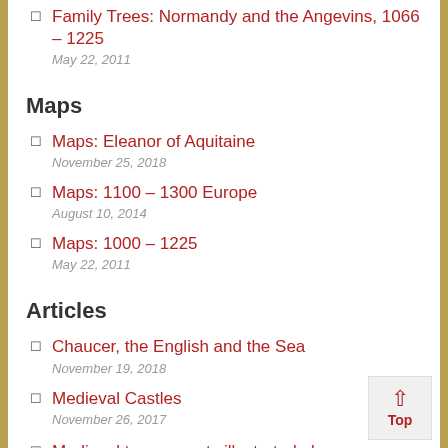Family Trees: Normandy and the Angevins, 1066 – 1225
May 22, 2011
Maps
Maps: Eleanor of Aquitaine
November 25, 2018
Maps: 1100 – 1300 Europe
August 10, 2014
Maps: 1000 – 1225
May 22, 2011
Articles
Chaucer, the English and the Sea
November 19, 2018
Medieval Castles
November 26, 2017
Medieval tournaments illustrated glossary